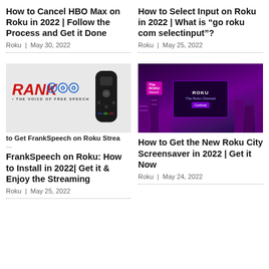How to Cancel HBO Max on Roku in 2022 | Follow the Process and Get it Done
Roku  |  May 30, 2022
How to Select Input on Roku in 2022 | What is “go roku com selectinput”?
Roku  |  May 25, 2022
[Figure (photo): RANK logo (red italic text with blue wifi/speech waves) and THE VOICE OF FREE SPEECH tagline, with a Roku remote control on the right side]
to Get FrankSpeech on Roku Strea
[Figure (photo): Purple/violet Roku City screensaver showing futuristic cityscape at night with Roku Channel screen in center and The Roku Channel logo on left]
FrankSpeech on Roku: How to Install in 2022| Get it & Enjoy the Streaming
Roku  |  May 25, 2022
How to Get the New Roku City Screensaver in 2022 | Get it Now
Roku  |  May 24, 2022